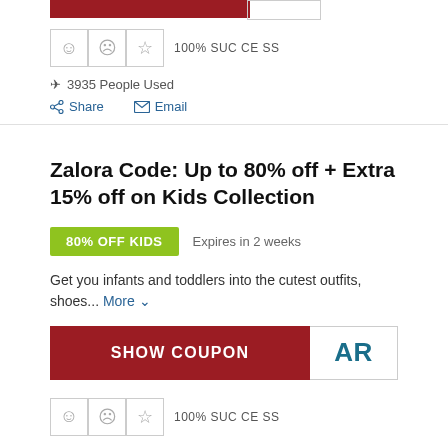[Figure (infographic): Top section showing partial red bar and white box, rating boxes with smiley, frown, and star icons, 100% SUCCESS text, 3935 People Used with wifi icon, Share and Email action links]
Zalora Code: Up to 80% off + Extra 15% off on Kids Collection
80% OFF KIDS    Expires in 2 weeks
Get you infants and toddlers into the cutest outfits, shoes... More
[Figure (infographic): SHOW COUPON red button with AR code box next to it]
100% SUCCESS
3535 People Used